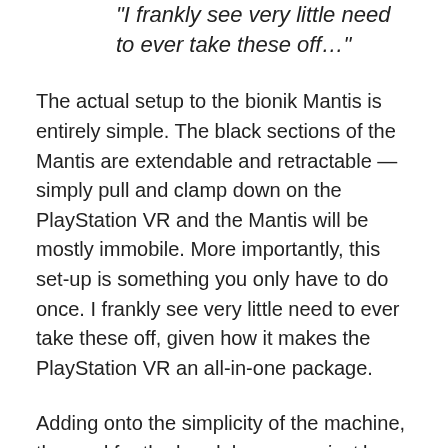"I frankly see very little need to ever take these off…"
The actual setup to the bionik Mantis is entirely simple. The black sections of the Mantis are extendable and retractable — simply pull and clamp down on the PlayStation VR and the Mantis will be mostly immobile. More importantly, this set-up is something you only have to do once. I frankly see very little need to ever take these off, given how it makes the PlayStation VR an all-in-one package.
Adding onto the simplicity of the machine, the cord for the headphones are just long enough to reach the audio input jack on the PS VR component wires. This means effectively less tangle and less cords — a boon to anyone having to untangle the set of PS VR wires with each new